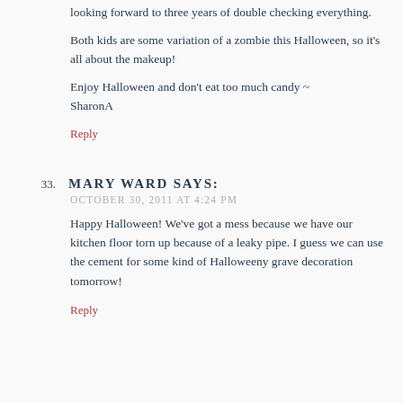looking forward to three years of double checking everything.
Both kids are some variation of a zombie this Halloween, so it's all about the makeup!
Enjoy Halloween and don't eat too much candy ~ SharonA
Reply
33. MARY WARD SAYS:
OCTOBER 30, 2011 AT 4:24 PM
Happy Halloween! We've got a mess because we have our kitchen floor torn up because of a leaky pipe. I guess we can use the cement for some kind of Halloweeny grave decoration tomorrow!
Reply